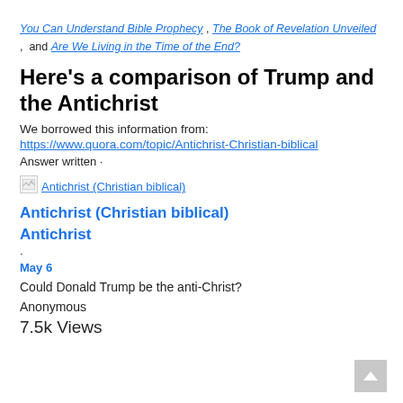You Can Understand Bible Prophecy, The Book of Revelation Unveiled, and Are We Living in the Time of the End?
Here's a comparison of Trump and the Antichrist
We borrowed this information from:
https://www.quora.com/topic/Antichrist-Christian-biblical
Answer written ·
[Figure (other): Broken image icon linking to Antichrist (Christian biblical) topic on Quora]
Antichrist (Christian biblical)
Antichrist
· May 6
Could Donald Trump be the anti-Christ?
Anonymous
7.5k Views